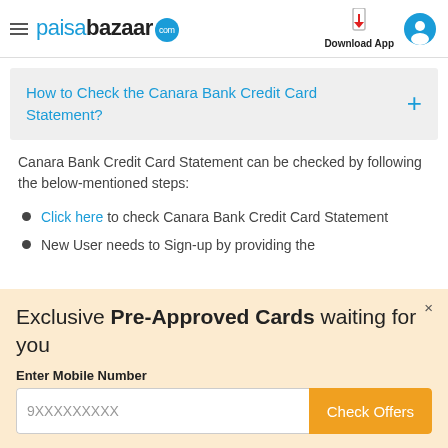paisabazaar.com
How to Check the Canara Bank Credit Card Statement?
Canara Bank Credit Card Statement can be checked by following the below-mentioned steps:
Click here to check Canara Bank Credit Card Statement
New User needs to Sign-up by providing the
Exclusive Pre-Approved Cards waiting for you
Enter Mobile Number
9XXXXXXXXX